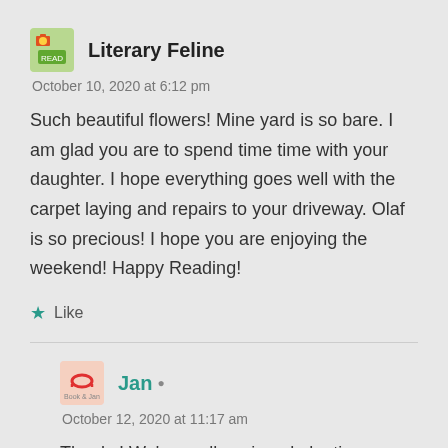Literary Feline
October 10, 2020 at 6:12 pm
Such beautiful flowers! Mine yard is so bare. I am glad you are to spend time time with your daughter. I hope everything goes well with the carpet laying and repairs to your driveway. Olaf is so precious! I hope you are enjoying the weekend! Happy Reading!
Like
Jan
October 12, 2020 at 11:17 am
Thanks! We've really enjoyed planting flowers in our